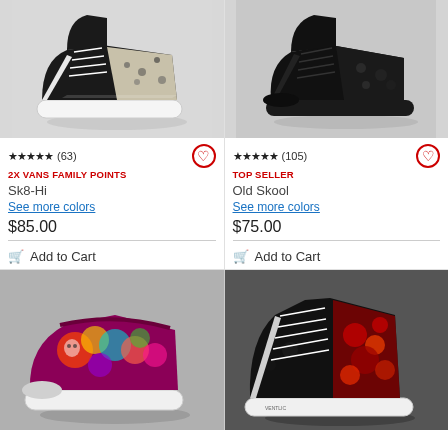[Figure (photo): Vans Sk8-Hi shoe in black with floral pattern and white laces on light gray background]
★★★★★ (63) ♡
2X VANS FAMILY POINTS
Sk8-Hi
See more colors
$85.00
Add to Cart
[Figure (photo): Vans Old Skool shoe in all black on light gray background]
★★★★★ (105) ♡
TOP SELLER
Old Skool
See more colors
$75.00
Add to Cart
[Figure (photo): Vans Classic Slip-On with colorful floral skull pattern, white sole, on gray background]
[Figure (photo): Vans Sk8-Hi high-top in black with red floral pattern on dark background]